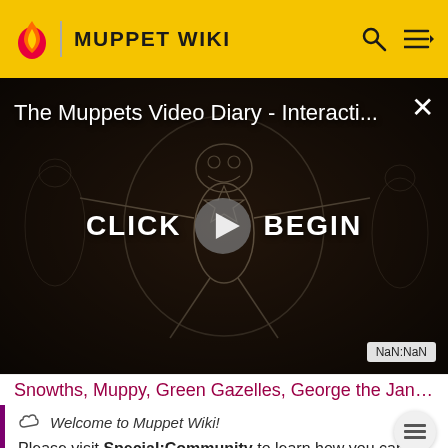MUPPET WIKI
[Figure (screenshot): Video player showing 'The Muppets Video Diary - Interacti...' with a sketch illustration of Kermit the Frog in a Vitruvian Man pose, CLICK BEGIN text with play button, and NaN:NaN timestamp badge]
Snowths, Muppy, Green Gazelles, George the Janitor,
Welcome to Muppet Wiki!
Please visit Special:Community to learn how you can contribute.